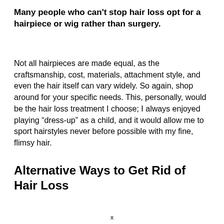Many people who can't stop hair loss opt for a hairpiece or wig rather than surgery.
Not all hairpieces are made equal, as the craftsmanship, cost, materials, attachment style, and even the hair itself can vary widely. So again, shop around for your specific needs. This, personally, would be the hair loss treatment I choose; I always enjoyed playing “dress-up” as a child, and it would allow me to sport hairstyles never before possible with my fine, flimsy hair.
Alternative Ways to Get Rid of Hair Loss
x